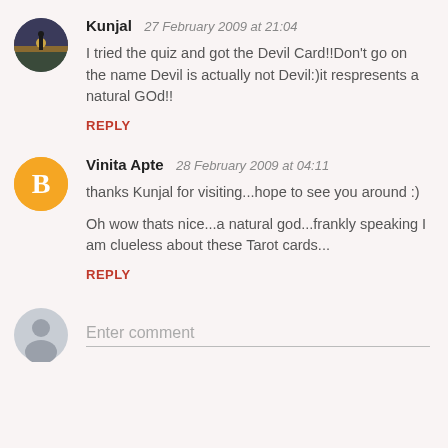[Figure (photo): Round avatar photo showing a silhouette figure at sunset/dark scene]
Kunjal  27 February 2009 at 21:04
I tried the quiz and got the Devil Card!!Don't go on the name Devil is actually not Devil:)it respresents a natural GOd!!
REPLY
[Figure (logo): Blogger orange circle icon with white B letter]
Vinita Apte  28 February 2009 at 04:11
thanks Kunjal for visiting...hope to see you around :)

Oh wow thats nice...a natural god...frankly speaking I am clueless about these Tarot cards...
REPLY
[Figure (illustration): Grey placeholder person silhouette avatar]
Enter comment